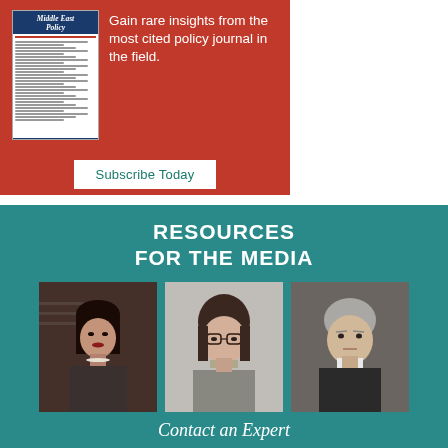[Figure (infographic): Red advertisement banner for Middle East Policy journal. Shows a journal cover image on the left and text 'Gain rare insights from the most cited policy journal in the field.' with a 'Subscribe Today' button.]
[Figure (infographic): Teal 'Resources for the Media' banner with heading text and three portrait photos of experts below. Partially cut off text 'Contact an Expert' at bottom.]